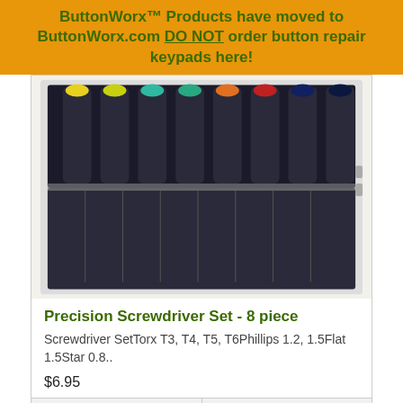ButtonWorx™ Products have moved to ButtonWorx.com DO NOT order button repair keypads here!
[Figure (photo): A precision screwdriver set of 8 pieces arranged in a metal/plastic case, with colored handles (yellow, green, teal, orange, red, dark blue) visible at the top and metallic tips at the bottom.]
Precision Screwdriver Set - 8 piece
Screwdriver SetTorx T3, T4, T5, T6Phillips 1.2, 1.5Flat 1.5Star 0.8..
$6.95